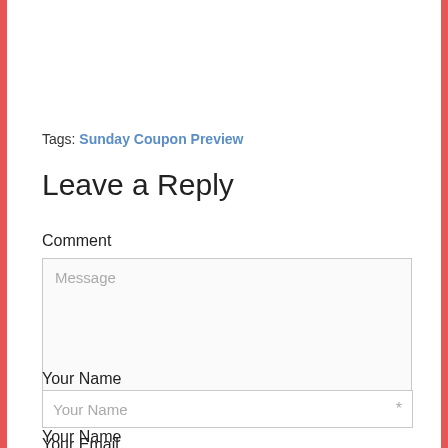Tags: Sunday Coupon Preview
Leave a Reply
Comment
[Figure (other): Message textarea input field with placeholder text 'Message' and resize handle]
Your Name
[Figure (other): Your Name text input field with placeholder text 'Your Name' and asterisk]
Your Email